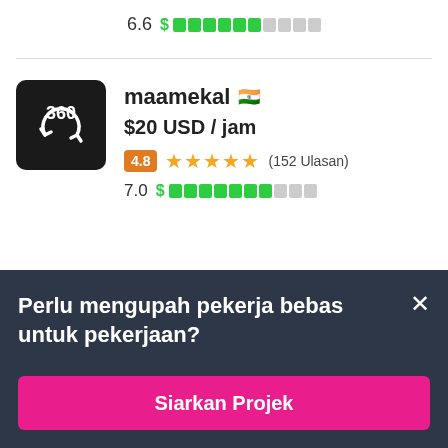[Figure (infographic): Score 6.6 with a dollar sign and green/grey bar indicator at the top]
[Figure (logo): 360 logo black square with circular arrow icon]
maamekal 🇮🇳
$20 USD / jam
4.8 ★★★★★ (152 Ulasan)
7.0 $ ████████░░░
Perlu mengupah pekerja bebas untuk pekerjaan?
Siarkan Projek